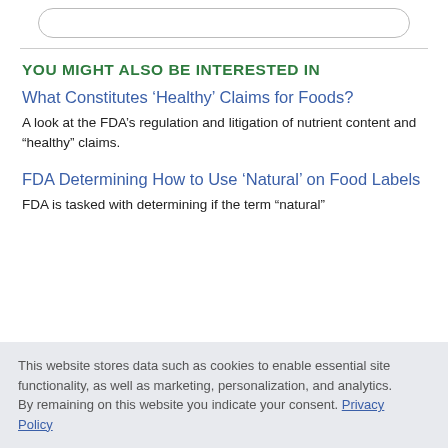YOU MIGHT ALSO BE INTERESTED IN
What Constitutes ‘Healthy’ Claims for Foods?
A look at the FDA’s regulation and litigation of nutrient content and “healthy” claims.
FDA Determining How to Use ‘Natural’ on Food Labels
FDA is tasked with determining if the term “natural”
This website stores data such as cookies to enable essential site functionality, as well as marketing, personalization, and analytics. By remaining on this website you indicate your consent. Privacy Policy